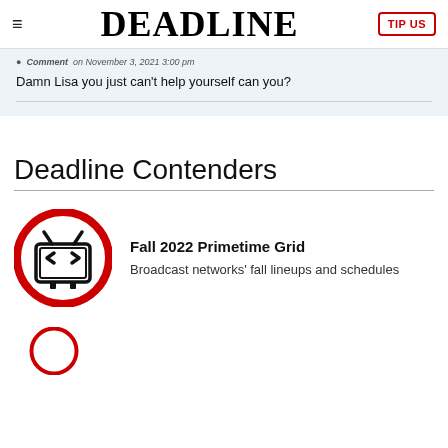DEADLINE | TIP US
Damn Lisa you just can't help yourself can you?
Deadline Contenders
[Figure (illustration): Red circle icon with a TV/monitor symbol containing angle brackets, representing the Fall 2022 Primetime Grid section]
Fall 2022 Primetime Grid
Broadcast networks' fall lineups and schedules
[Figure (illustration): Partial red circle icon at the bottom of the page, cut off]